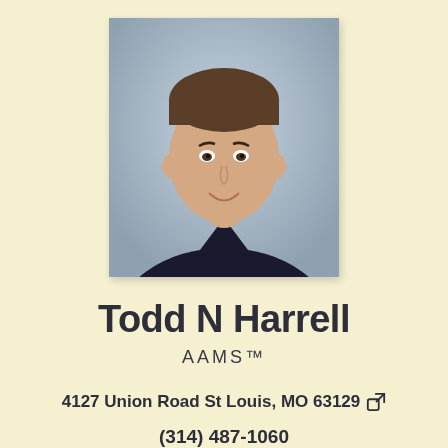[Figure (photo): Professional headshot of Todd N Harrell, a man in a dark suit with a light blue shirt and orange/salmon striped tie, smiling, against a light blue-grey background.]
Todd N Harrell
AAMS™
4127 Union Road St Louis, MO 63129
(314) 487-1060